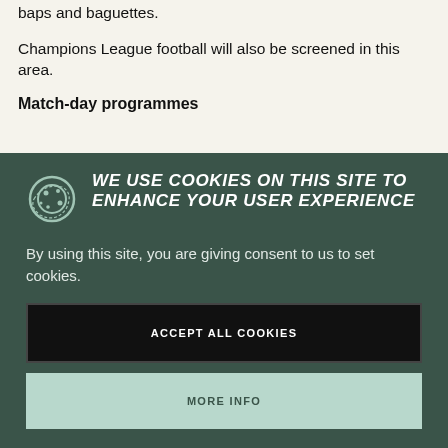baps and baguettes.
Champions League football will also be screened in this area.
Match-day programmes
WE USE COOKIES ON THIS SITE TO ENHANCE YOUR USER EXPERIENCE
By using this site, you are giving consent to us to set cookies.
ACCEPT ALL COOKIES
MORE INFO